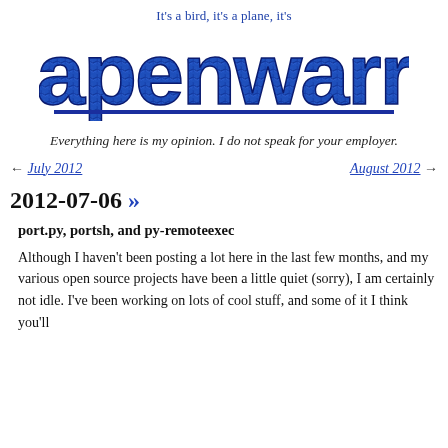It's a bird, it's a plane, it's apenwarr
Everything here is my opinion. I do not speak for your employer.
← July 2012    August 2012 →
2012-07-06 »
port.py, portsh, and py-remoteexec
Although I haven't been posting a lot here in the last few months, and my various open source projects have been a little quiet (sorry), I am certainly not idle. I've been working on lots of cool stuff, and some of it I think you'll